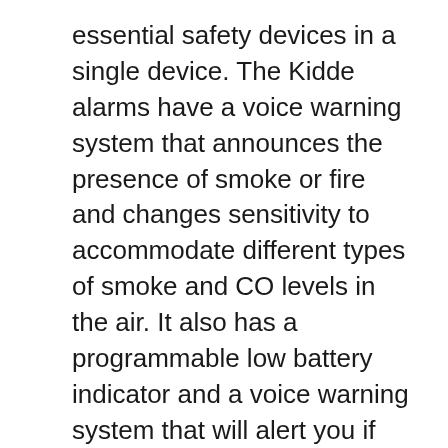essential safety devices in a single device. The Kidde alarms have a voice warning system that announces the presence of smoke or fire and changes sensitivity to accommodate different types of smoke and CO levels in the air. It also has a programmable low battery indicator and a voice warning system that will alert you if the battery is low.
Kidde smoke alarms and carbon monoxide alarms activated will make a chirping or beeping sound. This is normal and prevents the device malfunctioning. The alarm will not beep again unless a battery is inserted. If it does, unplug it and reset the circuit. Contact the manufacturer's customer support if you are unsure if it is working.